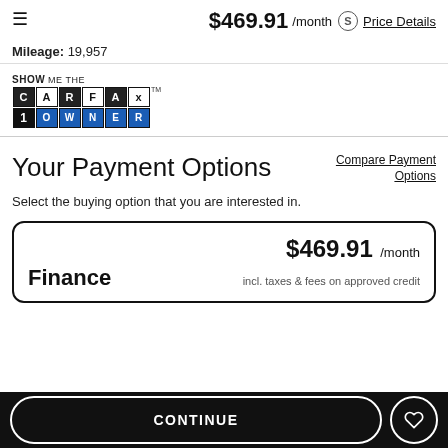☰  $469.91 /month ⓢ Price Details
Mileage: 19,957
[Figure (logo): SHOW ME THE CARFAX 1 OWNER logo]
Your Payment Options
Compare Payment Options
Select the buying option that you are interested in.
$469.91 /month incl. taxes & fees on approved credit
Finance
CONTINUE